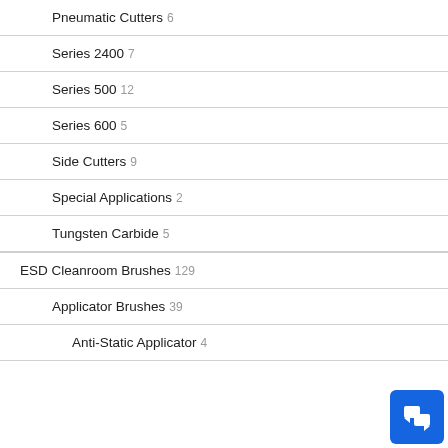Pneumatic Cutters 6
Series 2400 7
Series 500 12
Series 600 5
Side Cutters 9
Special Applications 2
Tungsten Carbide 5
ESD Cleanroom Brushes 129
Applicator Brushes 39
Anti-Static Applicator 4